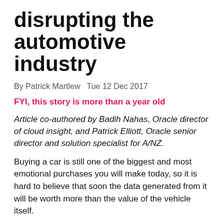disrupting the automotive industry
By Patrick Martlew  Tue 12 Dec 2017
FYI, this story is more than a year old
Article co-authored by Badih Nahas, Oracle director of cloud insight, and Patrick Elliott, Oracle senior director and solution specialist for A/NZ.
Buying a car is still one of the biggest and most emotional purchases you will make today, so it is hard to believe that soon the data generated from it will be worth more than the value of the vehicle itself.
According to McKinsey & Company, shared mobility (ridesharing and e-hailing) and data-driven services (smart sensors, telematics, in-car entertainment and personal assistants) could become the automotive...